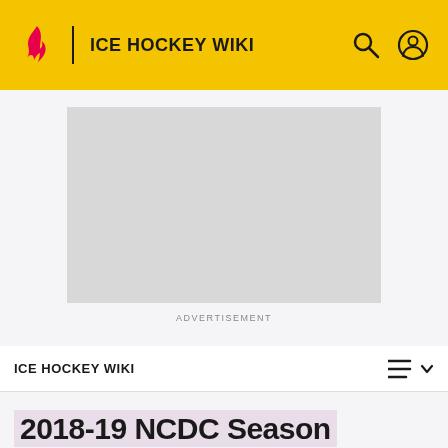ICE HOCKEY WIKI
[Figure (other): Advertisement placeholder - gray rectangle]
ADVERTISEMENT
ICE HOCKEY WIKI
2018-19 NCDC Season